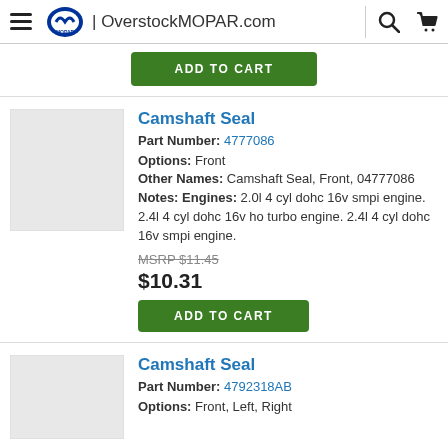OverstockMOPAR.com
ADD TO CART
Camshaft Seal
Part Number: 4777086
Options: Front
Other Names: Camshaft Seal, Front, 04777086
Notes: Engines: 2.0l 4 cyl dohc 16v smpi engine. 2.4l 4 cyl dohc 16v ho turbo engine. 2.4l 4 cyl dohc 16v smpi engine.
MSRP $11.45
$10.31
ADD TO CART
Camshaft Seal
Part Number: 4792318AB
Options: Front, Left, Right